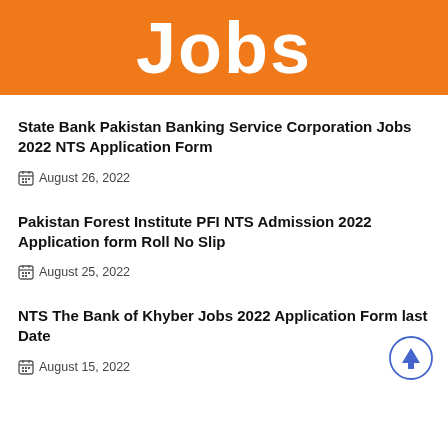[Figure (illustration): Orange banner with white bold text 'Jobs']
State Bank Pakistan Banking Service Corporation Jobs 2022 NTS Application Form
August 26, 2022
Pakistan Forest Institute PFI NTS Admission 2022 Application form Roll No Slip
August 25, 2022
NTS The Bank of Khyber Jobs 2022 Application Form last Date
August 15, 2022